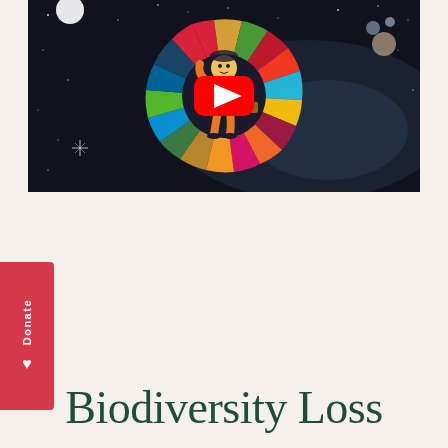[Figure (screenshot): YouTube video thumbnail showing an animated character in an orange spacesuit standing in front of the colorful UN Sustainable Development Goals wheel/circle logo, set against a dark space background with planets and stars. A red YouTube play button is overlaid in the center.]
Biodiversity Loss